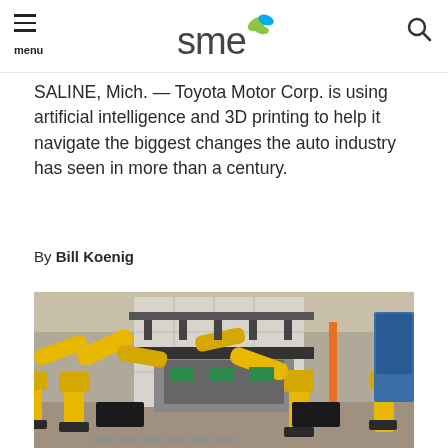SME logo, menu, search
SALINE, Mich. — Toyota Motor Corp. is using artificial intelligence and 3D printing to help it navigate the biggest changes the auto industry has seen in more than a century.
By Bill Koenig
[Figure (photo): Industrial robots (yellow FANUC robotic arms) on a factory floor, arranged in a stamping/manufacturing production line inside a large automotive manufacturing plant.]